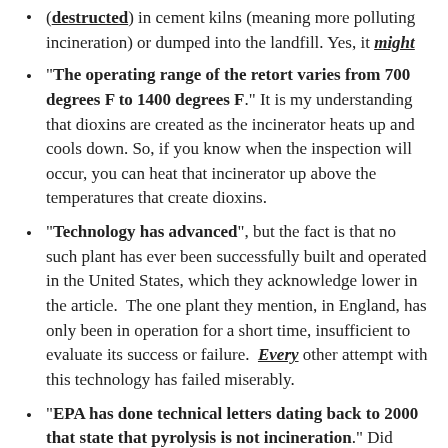(destructed) in cement kilns (meaning more polluting incineration) or dumped into the landfill. Yes, it might
"The operating range of the retort varies from 700 degrees F to 1400 degrees F." It is my understanding that dioxins are created as the incinerator heats up and cools down. So, if you know when the inspection will occur, you can heat that incinerator up above the temperatures that create dioxins.
"Technology has advanced", but the fact is that no such plant has ever been successfully built and operated in the United States, which they acknowledge lower in the article. The one plant they mention, in England, has only been in operation for a short time, insufficient to evaluate its success or failure. Every other attempt with this technology has failed miserably.
"EPA has done technical letters dating back to 2000 that state that pyrolysis is not incineration." Did someone forget to mention that EPA defines pyrolysis as incineration and that the Virginia Department of Environmental Quality has stated that it will monitor the